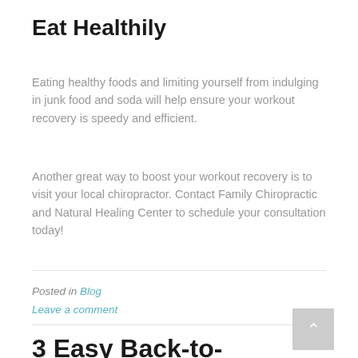Eat Healthily
Eating healthy foods and limiting yourself from indulging in junk food and soda will help ensure your workout recovery is speedy and efficient.
Another great way to boost your workout recovery is to visit your local chiropractor. Contact Family Chiropractic and Natural Healing Center to schedule your consultation today!
Posted in Blog
Leave a comment
3 Easy Back-to-School Hacks for Your Child